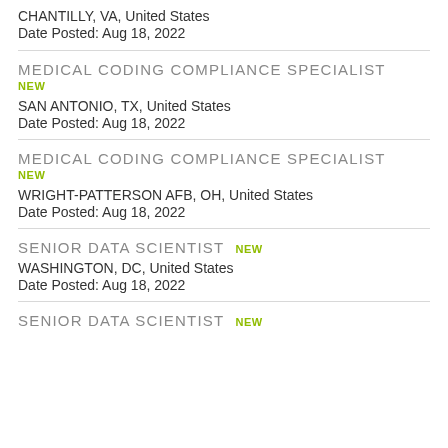CHANTILLY, VA, United States
Date Posted: Aug 18, 2022
MEDICAL CODING COMPLIANCE SPECIALIST
NEW
SAN ANTONIO, TX, United States
Date Posted: Aug 18, 2022
MEDICAL CODING COMPLIANCE SPECIALIST
NEW
WRIGHT-PATTERSON AFB, OH, United States
Date Posted: Aug 18, 2022
SENIOR DATA SCIENTIST NEW
WASHINGTON, DC, United States
Date Posted: Aug 18, 2022
SENIOR DATA SCIENTIST NEW